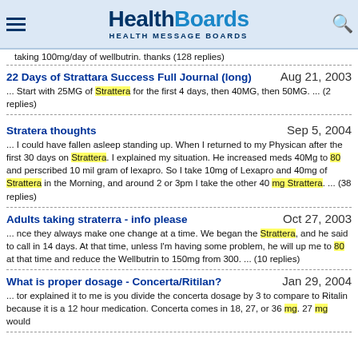HealthBoards HEALTH MESSAGE BOARDS
taking 100mg/day of wellbutrin. thanks (128 replies)
22 Days of Strattara Success Full Journal (long)
Aug 21, 2003
... Start with 25MG of Strattera for the first 4 days, then 40MG, then 50MG. ... (2 replies)
Stratera thoughts
Sep 5, 2004
... I could have fallen asleep standing up. When I returned to my Physican after the first 30 days on Strattera. I explained my situation. He increased meds 40Mg to 80 and perscribed 10 mil gram of lexapro. So I take 10mg of Lexapro and 40mg of Strattera in the Morning, and around 2 or 3pm I take the other 40 mg Strattera. ... (38 replies)
Adults taking straterra - info please
Oct 27, 2003
... nce they always make one change at a time. We began the Strattera, and he said to call in 14 days. At that time, unless I'm having some problem, he will up me to 80 at that time and reduce the Wellbutrin to 150mg from 300. ... (10 replies)
What is proper dosage - Concerta/Ritilan?
Jan 29, 2004
... tor explained it to me is you divide the concerta dosage by 3 to compare to Ritalin because it is a 12 hour medication. Concerta comes in 18, 27, or 36 mg. 27 mg would